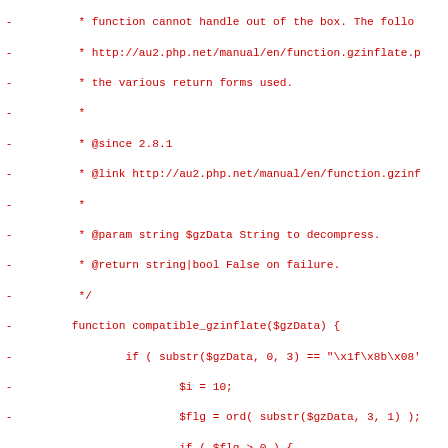[Figure (screenshot): Diff view of PHP source code showing deleted lines (marked with '-') in red. The code shows a function compatible_gzinflate with PHPDoc comments and implementation logic including substr, ord, strpos, gzinflate calls and conditional checks for gzip header flags.]